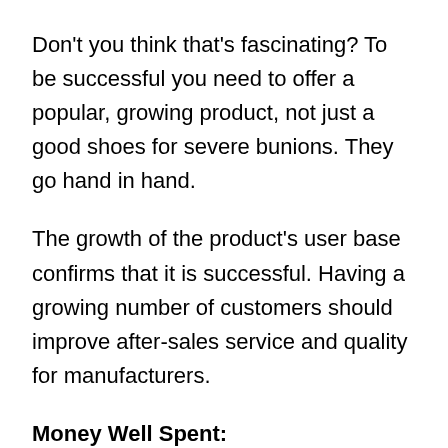Don't you think that's fascinating? To be successful you need to offer a popular, growing product, not just a good shoes for severe bunions. They go hand in hand.
The growth of the product's user base confirms that it is successful. Having a growing number of customers should improve after-sales service and quality for manufacturers.
Money Well Spent:
You get what you pay for, according to an old saying. You cannot get the top for the least money. Thus, it is also not necessary to spend a